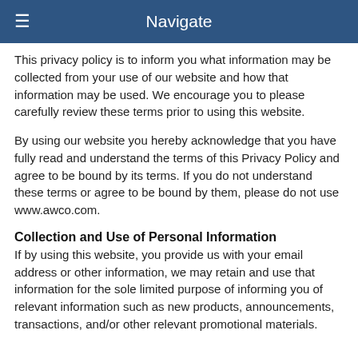Navigate
This privacy policy is to inform you what information may be collected from your use of our website and how that information may be used. We encourage you to please carefully review these terms prior to using this website.
By using our website you hereby acknowledge that you have fully read and understand the terms of this Privacy Policy and agree to be bound by its terms. If you do not understand these terms or agree to be bound by them, please do not use www.awco.com.
Collection and Use of Personal Information
If by using this website, you provide us with your email address or other information, we may retain and use that information for the sole limited purpose of informing you of relevant information such as new products, announcements, transactions, and/or other relevant promotional materials.